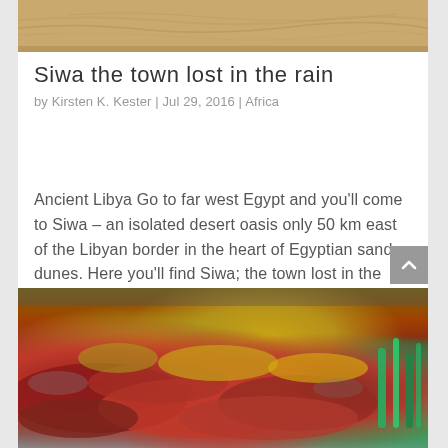[Figure (photo): Top portion of a desert sand dunes photograph with sandy colors and wind-drawn lines, partially cropped at top]
Siwa the town lost in the rain
by Kirsten K. Kester | Jul 29, 2016 | Africa
Ancient Libya Go to far west Egypt and you'll come to Siwa – an isolated desert oasis only 50 km east of the Libyan border in the heart of Egyptian sand dunes. Here you'll find Siwa; the town lost in the rain. Historically, Siwa is part of Ancient…
[Figure (photo): Colorful ground-level nature photograph showing red and crimson low-growing plants/moss covering rocky ground, with yellow-green patches and green grass on the right side]